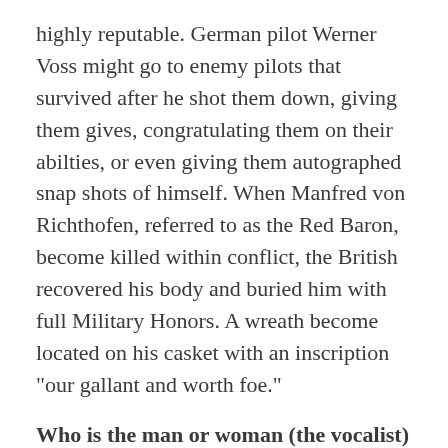highly reputable. German pilot Werner Voss might go to enemy pilots that survived after he shot them down, giving them gives, congratulating them on their abilties, or even giving them autographed snap shots of himself. When Manfred von Richthofen, referred to as the Red Baron, become killed within conflict, the British recovered his body and buried him with full Military Honors. A wreath become located on his casket with an inscription "our gallant and worth foe."
Who is the man or woman (the vocalist) sincerely making a song "Wayfaring Stranger"?